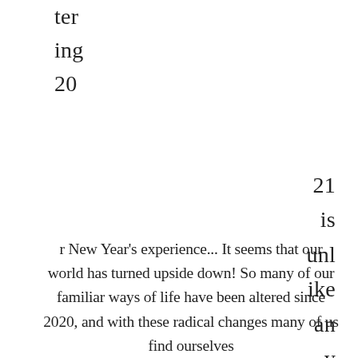ter
ing
20
21
is
unlike
any
other New Year's experience... It seems that our world has turned upside down! So many of our familiar ways of life have been altered since 2020, and with these radical changes many of us find ourselves